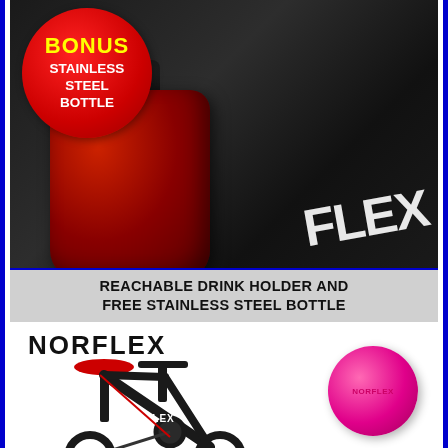[Figure (photo): Red stainless steel water bottle in black holder on exercise bike frame, with NORFLEX branding visible]
BONUS STAINLESS STEEL BOTTLE
REACHABLE DRINK HOLDER AND FREE STAINLESS STEEL BOTTLE
[Figure (photo): NORFLEX indoor exercise spin bike in black with red accents, shown with a pink exercise ball bearing the NORFLEX logo]
NORFLEX